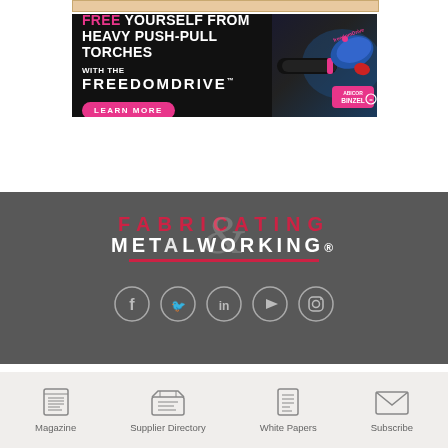[Figure (illustration): Top partial banner ad strip (cropped at top of page)]
[Figure (illustration): Binzel FreedomDrive advertisement: black background with welding torch imagery. Text reads FREE YOURSELF FROM HEAVY PUSH-PULL TORCHES WITH THE FREEDOMDRIVE. Pink LEARN MORE button. ABICOR BINZEL logo bottom right.]
[Figure (logo): Fabricating & Metalworking magazine logo — FABRICATING in red, METALWORKING in white, ampersand symbol, red underline bar, on dark grey background. Social media icons: Facebook, Twitter, LinkedIn, YouTube, Instagram.]
Magazine   Supplier Directory   White Papers   Subscribe